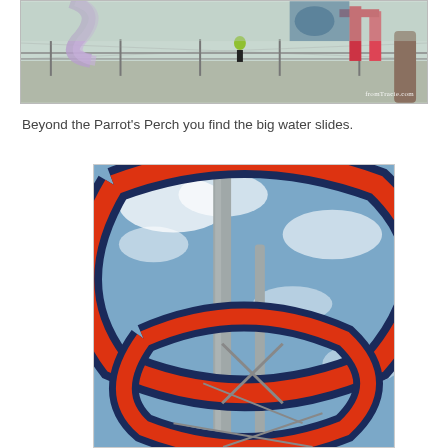[Figure (photo): Waterpark scene showing a splash pad / water play area with a chain-link fence, people in the background, colorful play structures, and a watermark reading fromTracie.com in the bottom right.]
Beyond the Parrot's Perch you find the big water slides.
[Figure (photo): Looking up at large water slide tubes colored red/orange and dark navy blue, looping around a metal support pole against a partly cloudy blue sky. Photo taken from below looking upward.]